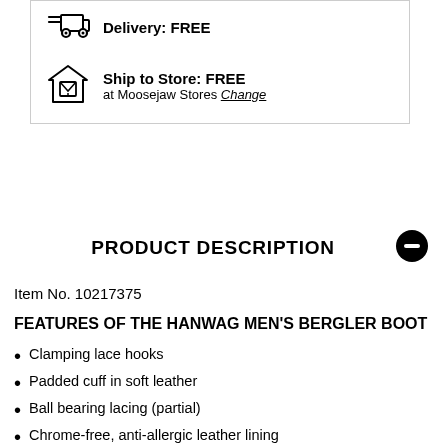Delivery: FREE
Ship to Store: FREE
at Moosejaw Stores Change
PRODUCT DESCRIPTION
Item No. 10217375
FEATURES OF THE HANWAG MEN'S BERGLER BOOT
Clamping lace hooks
Padded cuff in soft leather
Ball bearing lacing (partial)
Chrome-free, anti-allergic leather lining
Sturdy EVA rubber outsole
Wedge Sole: slightly raised heel